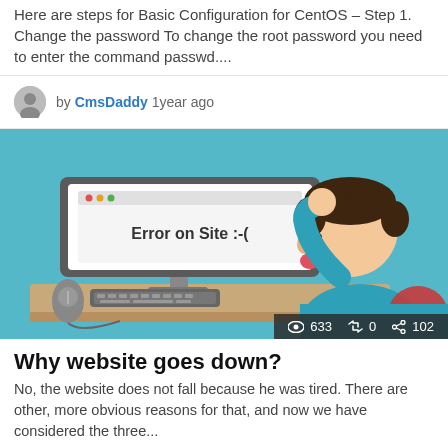Here are steps for Basic Configuration for CentOS – Step 1. Change the password To change the root password you need to enter the command passwd....
by CmsDaddy 1year ago
[Figure (illustration): Cartoon illustration of a frustrated person sitting at a desk in front of a computer monitor displaying the text 'Error on Site :-(', with a mouse and keyboard on the desk. Stats overlay shows: eye icon 633, retweet icon 0, share icon 102.]
Why website goes down?
No, the website does not fall because he was tired. There are other, more obvious reasons for that, and now we have considered the three...